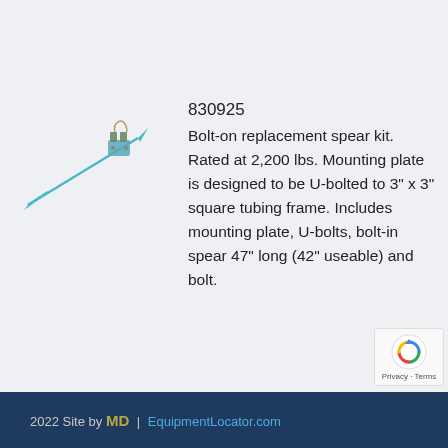[Figure (illustration): Illustration of a bolt-on replacement spear kit showing a long pointed spear attached to a mounting bracket, depicted diagonally]
830925   Bolt-on replacement spear kit. Rated at 2,200 lbs. Mounting plate is designed to be U-bolted to 3" x 3" square tubing frame. Includes mounting plate, U-bolts, bolt-in spear 47" long (42" useable) and bolt.
2022 Site by MD | EquipmentLocator.com